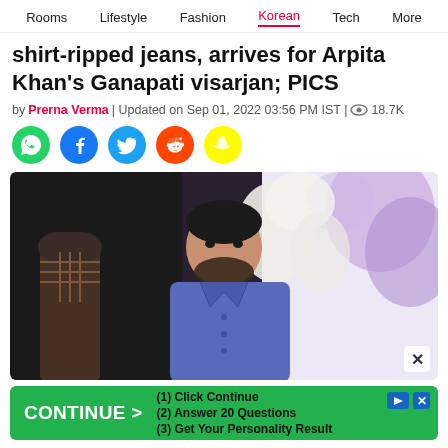Rooms | Lifestyle | Fashion | Korean | Tech | More
shirt-ripped jeans, arrives for Arpita Khan's Ganapati visarjan; PICS
by Prerna Verma | Updated on Sep 01, 2022 03:56 PM IST | 18.7K
[Figure (illustration): Social media share icons: WhatsApp (green), Facebook (blue), Twitter (light blue), Reddit (orange-red), Snapchat (yellow)]
[Figure (photo): A man in a blue shirt standing in front of a floral backdrop with white and purple flowers. There is a person in a checked shirt visible in the dark background to the left.]
[Figure (infographic): Advertisement banner: green background with 'CONTINUE >' button and text: (1) Click Continue, (2) Answer 20 Questions, (3) Get Your Personality Result]